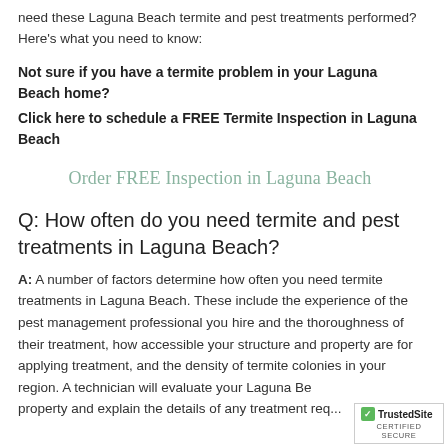need these Laguna Beach termite and pest treatments performed? Here's what you need to know:
Not sure if you have a termite problem in your Laguna Beach home?
Click here to schedule a FREE Termite Inspection in Laguna Beach
Order FREE Inspection in Laguna Beach
Q: How often do you need termite and pest treatments in Laguna Beach?
A: A number of factors determine how often you need termite treatments in Laguna Beach. These include the experience of the pest management professional you hire and the thoroughness of their treatment, how accessible your structure and property are for applying treatment, and the density of termite colonies in your region. A technician will evaluate your Laguna Beach property and explain the details of any treatment req...
[Figure (logo): TrustedSite Certified Secure badge]